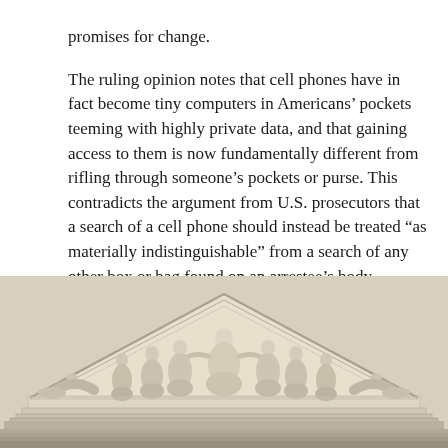promises for change.
The ruling opinion notes that cell phones have in fact become tiny computers in Americans' pockets teeming with highly private data, and that gaining access to them is now fundamentally different from rifling through someone's pockets or purse. This contradicts the argument from U.S. prosecutors that a search of a cell phone should instead be treated “as materially indistinguishable” from a search of any other box or bag found on an arrestee’s body.
[Figure (photo): Photograph of the pediment frieze of the U.S. Supreme Court building, showing carved marble relief sculptures of robed figures seated and reclining in a classical composition beneath a triangular pediment.]